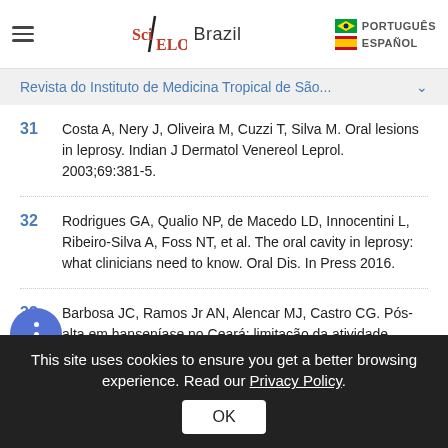SciELO Brazil | PORTUGUÊS | ESPAÑOL
Revista do Instituto de Medicina Tropical de São...
31 Costa A, Nery J, Oliveira M, Cuzzi T, Silva M. Oral lesions in leprosy. Indian J Dermatol Venereol Leprol. 2003;69:381-5.
32 Rodrigues GA, Qualio NP, de Macedo LD, Innocentini L, Ribeiro-Silva A, Foss NT, et al. The oral cavity in leprosy: what clinicians need to know. Oral Dis. In Press 2016.
33 Barbosa JC, Ramos Jr AN, Alencar MJ, Castro CG. Pós-alta em hanseníase no Ceará: limitação da atividade funcional, consciência
This site uses cookies to ensure you get a better browsing experience. Read our Privacy Policy. OK